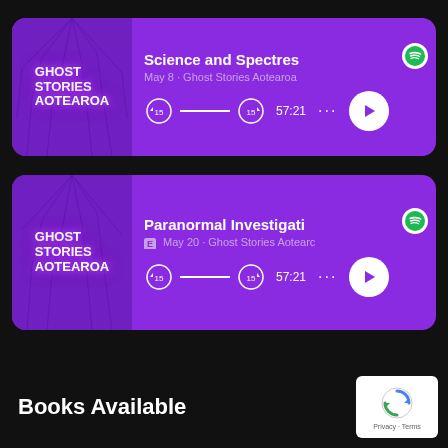[Figure (screenshot): Spotify podcast card for Ghost Stories Aotearoa - Science and Spectres episode, May 8, 57:21 duration]
[Figure (screenshot): Spotify podcast card for Ghost Stories Aotearoa - Paranormal Investigation episode, May 20, 57:21 duration, explicit tag]
Books Available
[Figure (logo): Google reCAPTCHA Privacy Terms badge]